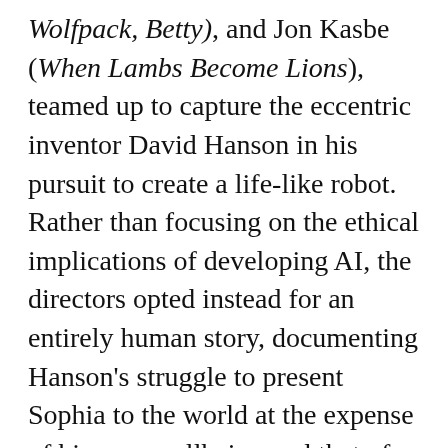Wolfpack, Betty), and Jon Kasbe (When Lambs Become Lions), teamed up to capture the eccentric inventor David Hanson in his pursuit to create a life-like robot. Rather than focusing on the ethical implications of developing AI, the directors opted instead for an entirely human story, documenting Hanson's struggle to present Sophia to the world at the expense of his own wellbeing and that of his family. The documentary, which made its world premiere at the 2022 Tribeca Film Festival on Friday, is out on Showtime this September, and leaves viewers asking ominous questions about